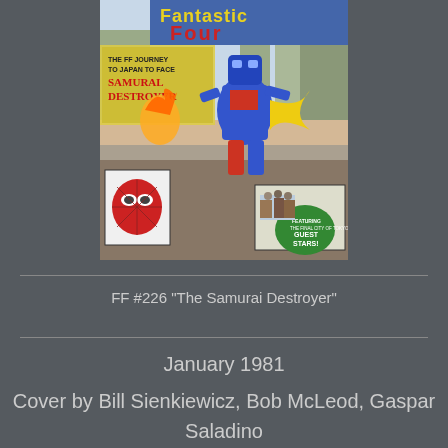[Figure (illustration): Comic book cover of Fantastic Four #226 'The Samurai Destroyer', showing a large robot/samurai destroyer battle scene in a city street, with smaller inset images of Spider-Man mask and a crowd scene. Features 'Guest Stars!' badge and text about 'The FF Journey to Japan to Face Samurial Destroyer'.]
FF #226 "The Samurai Destroyer"
January 1981
Cover by Bill Sienkiewicz, Bob McLeod, Gaspar
Saladino